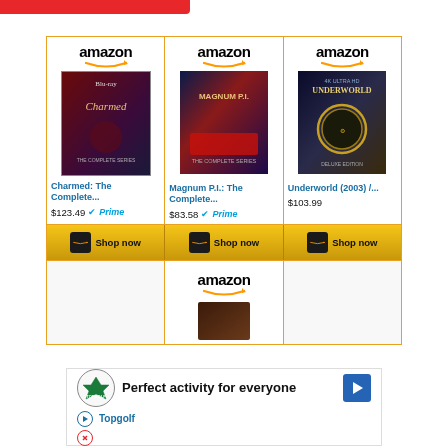[Figure (screenshot): Red top bar partial UI element]
[Figure (screenshot): Amazon product ad grid showing three products: Charmed: The Complete Series at $123.49 with Prime, Magnum P.I.: The Complete Series at $83.58 with Prime, Underworld (2003) /... at $103.99. Each with Shop now button. A fourth partial Amazon card is shown below. A Topgolf advertisement is at the bottom.]